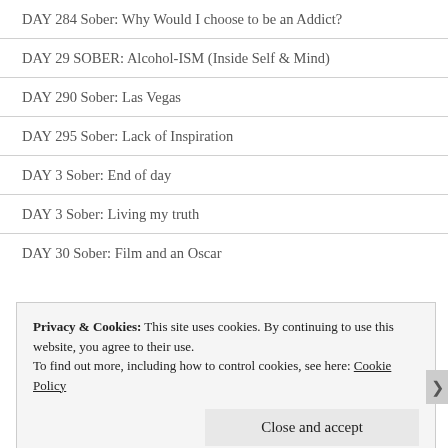DAY 284 Sober: Why Would I choose to be an Addict?
DAY 29 SOBER: Alcohol-ISM (Inside Self & Mind)
DAY 290 Sober: Las Vegas
DAY 295 Sober: Lack of Inspiration
DAY 3 Sober: End of day
DAY 3 Sober: Living my truth
DAY 30 Sober: Film and an Oscar
Privacy & Cookies: This site uses cookies. By continuing to use this website, you agree to their use. To find out more, including how to control cookies, see here: Cookie Policy
Close and accept